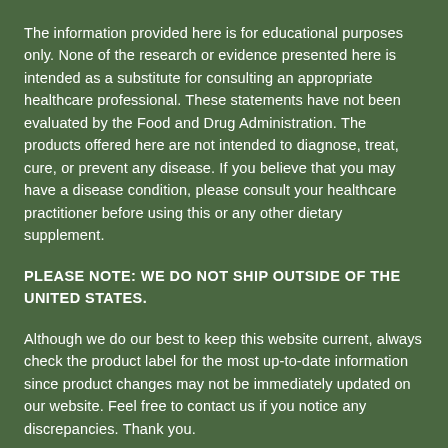The information provided here is for educational purposes only. None of the research or evidence presented here is intended as a substitute for consulting an appropriate healthcare professional. These statements have not been evaluated by the Food and Drug Administration. The products offered here are not intended to diagnose, treat, cure, or prevent any disease. If you believe that you may have a disease condition, please consult your healthcare practitioner before using this or any other dietary supplement.
PLEASE NOTE: WE DO NOT SHIP OUTSIDE OF THE UNITED STATES.
Although we do our best to keep this website current, always check the product label for the most up-to-date information since product changes may not be immediately updated on our website. Feel free to contact us if you notice any discrepancies. Thank you.